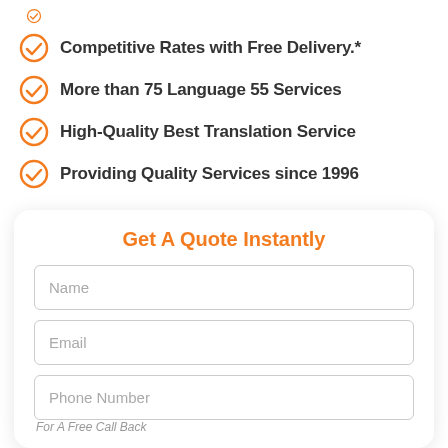Competitive Rates with Free Delivery.*
More than 75 Language 55 Services
High-Quality Best Translation Service
Providing Quality Services since 1996
Get A Quote Instantly
Name
Email
Phone Number
For A Free Call Back